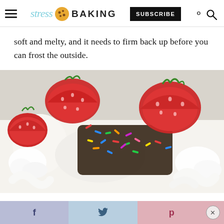stress BAKING — SUBSCRIBE
soft and melty, and it needs to firm back up before you can frost the outside.
[Figure (photo): Close-up photo of a cake decorated with white whipped cream frosting, colorful sprinkles, and fresh halved strawberries on top.]
f  [twitter bird]  p  ×